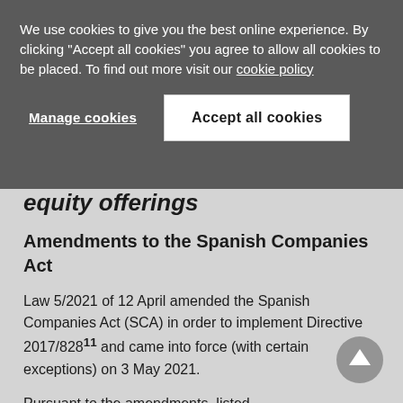We use cookies to give you the best online experience. By clicking "Accept all cookies" you agree to allow all cookies to be placed. To find out more visit our cookie policy
Manage cookies
Accept all cookies
equity offerings
Amendments to the Spanish Companies Act
Law 5/2021 of 12 April amended the Spanish Companies Act (SCA) in order to implement Directive 2017/828¹¹ and came into force (with certain exceptions) on 3 May 2021.
Pursuant to the amendments, listed